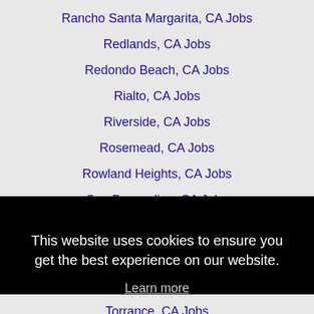Rancho Santa Margarita, CA Jobs
Redlands, CA Jobs
Redondo Beach, CA Jobs
Rialto, CA Jobs
Riverside, CA Jobs
Rosemead, CA Jobs
Rowland Heights, CA Jobs
San Bernardino, CA Jobs
San Clemente, CA Jobs
This website uses cookies to ensure you get the best experience on our website.
Learn more
Got it!
Torrance, CA Jobs